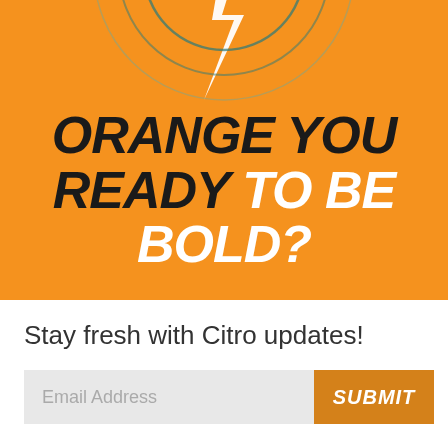[Figure (illustration): Orange background section with concentric circle arcs in teal/dark colors at the top center, with a white lightning bolt slash shape inside. Part of a logo or brand graphic.]
ORANGE YOU READY TO BE BOLD?
Stay fresh with Citro updates!
Email Address | SUBMIT